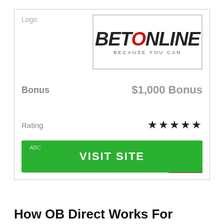Logo
[Figure (logo): BetOnline logo with tagline BECAUSE YOU CAN]
Bonus    $1,000 Bonus
Rating    ★★★★★
USA
[Figure (illustration): US flag with green checkmark]
VISIT SITE
How OB Direct Works For